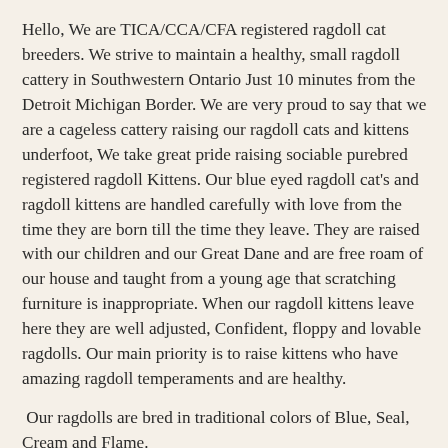Hello, We are TICA/CCA/CFA registered ragdoll cat breeders. We strive to maintain a healthy, small ragdoll cattery in Southwestern Ontario Just 10 minutes from the Detroit Michigan Border. We are very proud to say that we are a cageless cattery raising our ragdoll cats and kittens underfoot, We take great pride raising sociable purebred registered ragdoll Kittens. Our blue eyed ragdoll cat's and ragdoll kittens are handled carefully with love from the time they are born till the time they leave. They are raised with our children and our Great Dane and are free roam of our house and taught from a young age that scratching furniture is inappropriate. When our ragdoll kittens leave here they are well adjusted, Confident, floppy and lovable ragdolls. Our main priority is to raise kittens who have amazing ragdoll temperaments and are healthy.
Our ragdolls are bred in traditional colors of Blue, Seal, Cream and Flame.